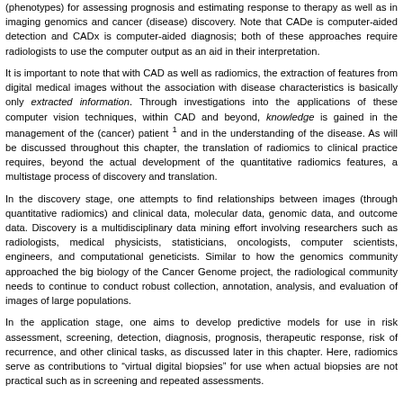(phenotypes) for assessing prognosis and estimating response to therapy as well as in imaging genomics and cancer (disease) discovery. Note that CADe is computer-aided detection and CADx is computer-aided diagnosis; both of these approaches require radiologists to use the computer output as an aid in their interpretation.
It is important to note that with CAD as well as radiomics, the extraction of features from digital medical images without the association with disease characteristics is basically only extracted information. Through investigations into the applications of these computer vision techniques, within CAD and beyond, knowledge is gained in the management of the (cancer) patient 1 and in the understanding of the disease. As will be discussed throughout this chapter, the translation of radiomics to clinical practice requires, beyond the actual development of the quantitative radiomics features, a multistage process of discovery and translation.
In the discovery stage, one attempts to find relationships between images (through quantitative radiomics) and clinical data, molecular data, genomic data, and outcome data. Discovery is a multidisciplinary data mining effort involving researchers such as radiologists, medical physicists, statisticians, oncologists, computer scientists, engineers, and computational geneticists. Similar to how the genomics community approached the big biology of the Cancer Genome project, the radiological community needs to continue to conduct robust collection, annotation, analysis, and evaluation of images of large populations.
In the application stage, one aims to develop predictive models for use in risk assessment, screening, detection, diagnosis, prognosis, therapeutic response, risk of recurrence, and other clinical tasks, as discussed later in this chapter. Here, radiomics serve as contributions to “virtual digital biopsies” for use when actual biopsies are not practical such as in screening and repeated assessments.